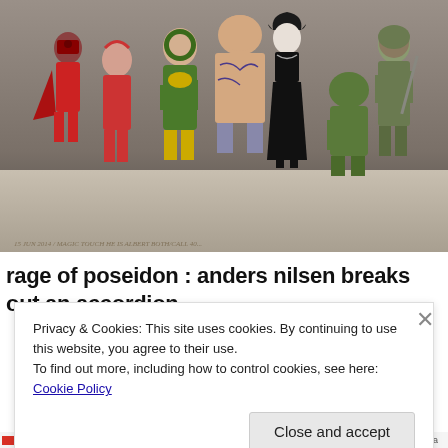[Figure (photo): A group of action figures / collectible toys including characters resembling Iron Fist (green and yellow costume), a gothic woman in a black dress, a tattooed wrestler-type figure, a military soldier figure, and others, posed together on a surface. Script/handwritten text is visible along the bottom edge of the display surface.]
rage of poseidon : anders nilsen breaks out an accordion-
Privacy & Cookies: This site uses cookies. By continuing to use this website, you agree to their use.
To find out more, including how to control cookies, see here: Cookie Policy